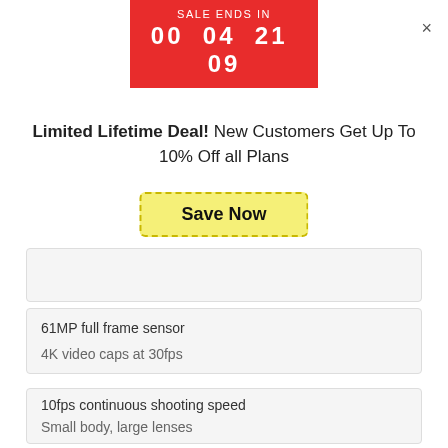[Figure (infographic): Red sale countdown banner showing SALE ENDS IN 00 04 21 09]
×
Limited Lifetime Deal! New Customers Get Up To 10% Off all Plans
Save Now
61MP full frame sensor
4K video caps at 30fps
10fps continuous shooting speed
Small body, large lenses
Eye tracking autofocus technology